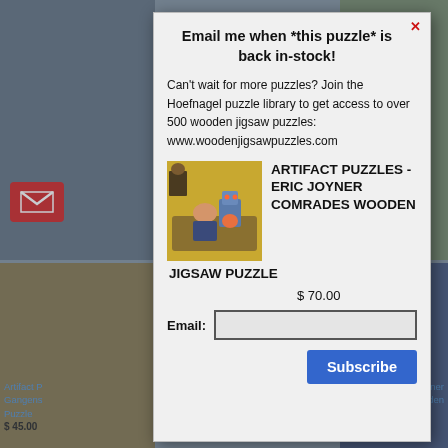[Figure (screenshot): Background webpage showing puzzle product listings with images and blue text links, email icon in red, blurred behind modal]
Email me when *this puzzle* is back in-stock!
Can't wait for more puzzles? Join the Hoefnagel puzzle library to get access to over 500 wooden jigsaw puzzles: www.woodenjigsawpuzzles.com
[Figure (photo): Product photo of Artifact Puzzles - Eric Joyner Comrades Wooden Jigsaw Puzzle showing a robot and person on a couch painting]
ARTIFACT PUZZLES - ERIC JOYNER COMRADES WOODEN JIGSAW PUZZLE
$ 70.00
Email:
Subscribe